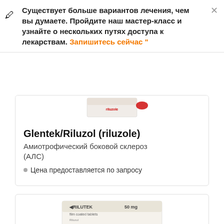Существует больше вариантов лечения, чем вы думаете. Пройдите наш мастер-класс и узнайте о нескольких путях доступа к лекарствам. Запишитесь сейчас "
[Figure (photo): Partial view of a pharmaceutical product box (red/white packaging) at the top of the first product card]
Glentek/Riluzol (riluzole)
Амиотрофический боковой склероз (АЛС)
Цена предоставляется по запросу
[Figure (photo): RILUTEK 50 mg film coated tablets box — white/cream packaging with product information text]